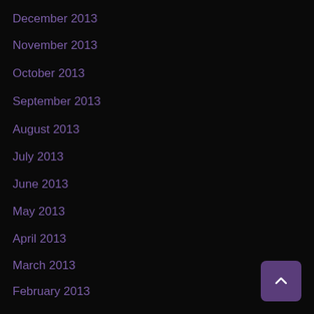December 2013
November 2013
October 2013
September 2013
August 2013
July 2013
June 2013
May 2013
April 2013
March 2013
February 2013
January 2013